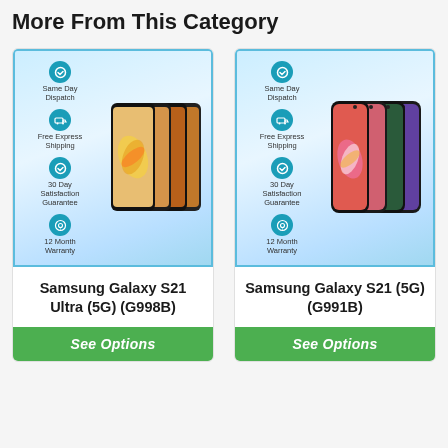More From This Category
[Figure (photo): Samsung Galaxy S21 Ultra (5G) (G998B) product card with Same Day Dispatch, Free Express Shipping, 30 Day Satisfaction Guarantee, 12 Month Warranty badges and stacked phone images]
Samsung Galaxy S21 Ultra (5G) (G998B)
See Options
[Figure (photo): Samsung Galaxy S21 (5G) (G991B) product card with Same Day Dispatch, Free Express Shipping, 30 Day Satisfaction Guarantee, 12 Month Warranty badges and stacked phone images]
Samsung Galaxy S21 (5G) (G991B)
See Options